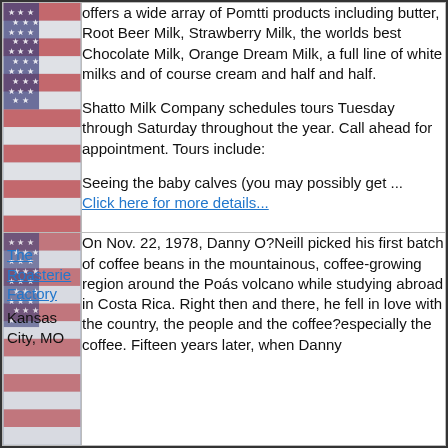offers a wide array of Pomtti products including butter, Root Beer Milk, Strawberry Milk, the worlds best Chocolate Milk, Orange Dream Milk, a full line of white milks and of course cream and half and half.
Shatto Milk Company schedules tours Tuesday through Saturday throughout the year. Call ahead for appointment. Tours include:
Seeing the baby calves (you may possibly get ...
Click here for more details...
The Roasterie Factory
Kansas City, MO
On Nov. 22, 1978, Danny O?Neill picked his first batch of coffee beans in the mountainous, coffee-growing region around the Poás volcano while studying abroad in Costa Rica. Right then and there, he fell in love with the country, the people and the coffee?especially the coffee. Fifteen years later, when Danny